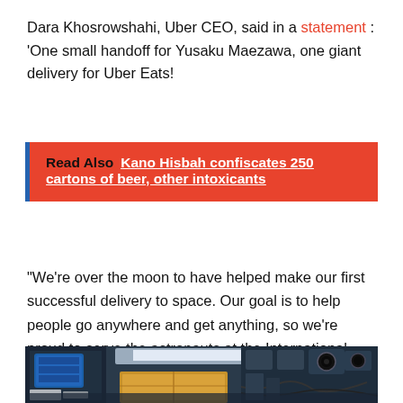Dara Khosrowshahi, Uber CEO, said in a statement : 'One small handoff for Yusaku Maezawa, one giant delivery for Uber Eats!
Read Also  Kano Hisbah confiscates 250 cartons of beer, other intoxicants
“We’re over the moon to have helped make our first successful delivery to space. Our goal is to help people go anywhere and get anything, so we’re proud to serve the astronauts at the International Space Station.
[Figure (photo): Interior of International Space Station with equipment, blue containers, a cardboard box, and various instruments and cables visible.]